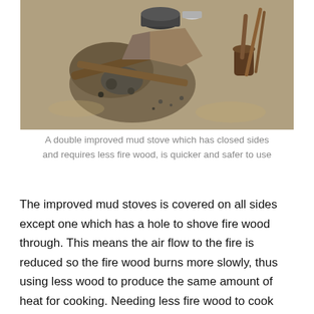[Figure (photo): A double improved mud stove photographed from above, showing clay/mud construction with cooking pots, firewood, ash marks on the ground, and a wooden mortar and pestle to the right.]
A double improved mud stove which has closed sides and requires less fire wood, is quicker and safer to use
The improved mud stoves is covered on all sides except one which has a hole to shove fire wood through. This means the air flow to the fire is reduced so the fire wood burns more slowly, thus using less wood to produce the same amount of heat for cooking. Needing less fire wood to cook with means that fewer trees are cut down to provide fuel. Our beneficiaries told us that they need three times less firewood since they started using the improved